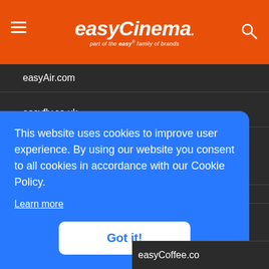easyCinema. part of the easy® family of brands
easyAir.com
easyfly.co.uk
This website uses cookies to improve user experience. By using our website you consent to all cookies in accordance with our Cookie Policy.
Learn more
Got it!
easyCoffee.co